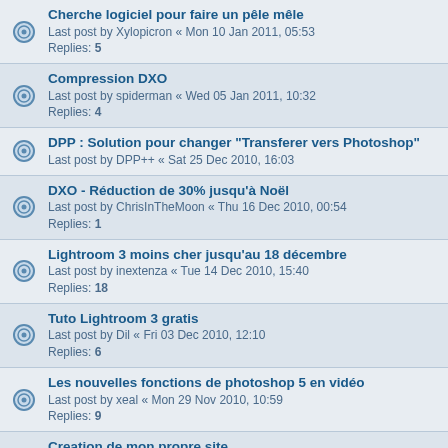Cherche logiciel pour faire un pêle mêle
Last post by Xylopicron « Mon 10 Jan 2011, 05:53
Replies: 5
Compression DXO
Last post by spiderman « Wed 05 Jan 2011, 10:32
Replies: 4
DPP : Solution pour changer "Transferer vers Photoshop"
Last post by DPP++ « Sat 25 Dec 2010, 16:03
DXO - Réduction de 30% jusqu'à Noël
Last post by ChrisInTheMoon « Thu 16 Dec 2010, 00:54
Replies: 1
Lightroom 3 moins cher jusqu'au 18 décembre
Last post by inextenza « Tue 14 Dec 2010, 15:40
Replies: 18
Tuto Lightroom 3 gratis
Last post by Dil « Fri 03 Dec 2010, 12:10
Replies: 6
Les nouvelles fonctions de photoshop 5 en vidéo
Last post by xeal « Mon 29 Nov 2010, 10:59
Replies: 9
Creation de mon propre site
Last post by olivier3191 « Sat 20 Nov 2010, 18:18
Replies: 27
Taille JPG après traitement RAW-Aperture
Last post by Lesfilmu « Sat 20 Nov 2010, 10:00
Replies: 12
Logiciel pour livre photo
Last post by vincent v « Wed 10 Nov 2010, 19:37
Replies: 15